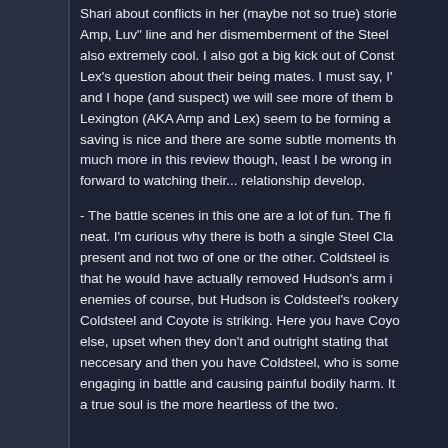There was a lot of humor in this issue, which was great. Shari about conflicts in her (maybe not so true) stories... Amp, Luv" line and her dismemberment of the Steel also extremely cool. I also got a big kick out of Const Lex's question about their being mates. I must say, I' and I hope (and suspect) we will see more of them b Lexington (AKA Amp and Lex) seem to be forming a saving is nice and there are some subtle moments th much more in this review though, least I be wrong in forward to watching their... relationship develop.
- The battle scenes in this one are a lot of fun. The fi neat. I'm curious why there is both a single Steel Cla present and not two of one or the other. Coldsteel is that he would have actually removed Hudson's arm i enemies of course, but Hudson is Coldsteel's rookery Coldsteel and Coyote is striking. Here you have Coyo else, upset when they don't and outright stating that neccesary and then you have Coldsteel, who is some engaging in battle and causing painful bodily harm. It a true soul is the more heartless of the two.